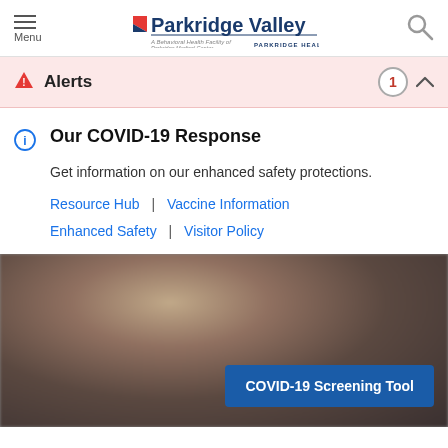Menu | Parkridge Valley — A Behavioral Health Facility of Parkridge Medical Center | PARKRIDGE HEALTH SYSTEM
Alerts 1
Our COVID-19 Response
Get information on our enhanced safety protections.
Resource Hub  |  Vaccine Information
Enhanced Safety  |  Visitor Policy
[Figure (photo): Blurred close-up photo of a person, hero banner image]
COVID-19 Screening Tool